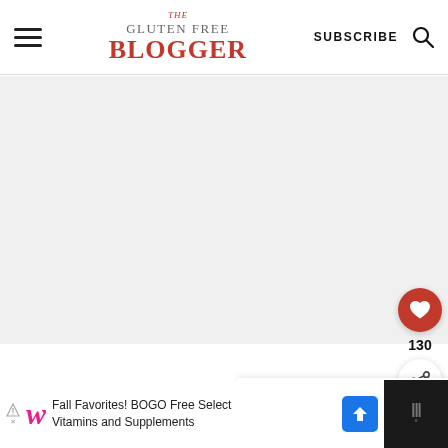THE GLUTEN FREE BLOGGER | SUBSCRIBE
[Figure (screenshot): Main content area, large white/light grey blank space showing a webpage screenshot]
[Figure (infographic): Floating action button: red circle with heart icon, count 130, and share button below]
130
[Figure (infographic): What's Next panel showing airplane thumbnail, label WHAT'S NEXT with arrow, and text 'Flying gluten free with...']
WHAT'S NEXT → Flying gluten free with...
[Figure (infographic): Ad banner at bottom: Walgreens ad - Fall Favorites! BOGO Free Select Vitamins and Supplements]